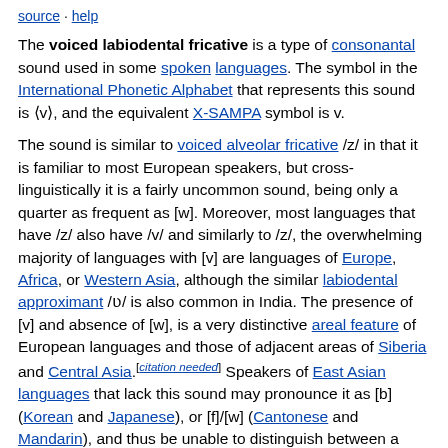source · help
The voiced labiodental fricative is a type of consonantal sound used in some spoken languages. The symbol in the International Phonetic Alphabet that represents this sound is ⟨v⟩, and the equivalent X-SAMPA symbol is v.
The sound is similar to voiced alveolar fricative /z/ in that it is familiar to most European speakers, but cross-linguistically it is a fairly uncommon sound, being only a quarter as frequent as [w]. Moreover, most languages that have /z/ also have /v/ and similarly to /z/, the overwhelming majority of languages with [v] are languages of Europe, Africa, or Western Asia, although the similar labiodental approximant /ʋ/ is also common in India. The presence of [v] and absence of [w], is a very distinctive areal feature of European languages and those of adjacent areas of Siberia and Central Asia.[citation needed] Speakers of East Asian languages that lack this sound may pronounce it as [b] (Korean and Japanese), or [f]/[w] (Cantonese and Mandarin), and thus be unable to distinguish between a number of English minimal pairs. [citation needed]
In certain languages, such as Danish,[1] Faroese,[2] Icelandic or Norwegian[3] the voiced labiodental fricative is in a free variation